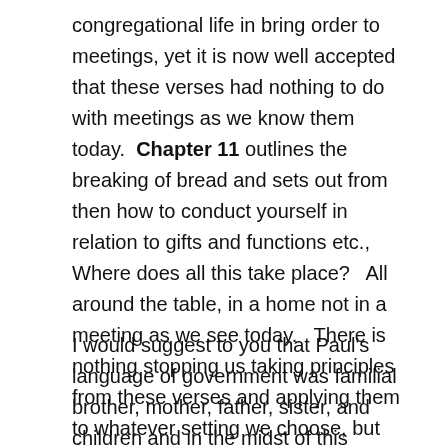congregational life in bring order to meetings, yet it is now well accepted that these verses had nothing to do with meetings as we know them today.  Chapter 11 outlines the breaking of bread and sets out from then how to conduct yourself in relation to gifts and functions etc., Where does all this take place?   All around the table, in a home not in a meeting as we see today.   There is nothing stopping us taking principles from these verses and applying them to whatever setting we choose, but always seek to remember the context it was written for.
I would suggest to you that Paul's language of government was familial brother, mother, father, sister, and children and in the midst of this apostles, elders, prophets, pastors, teachers, deacons, and evangelists were found as gifts of function, based in a president...